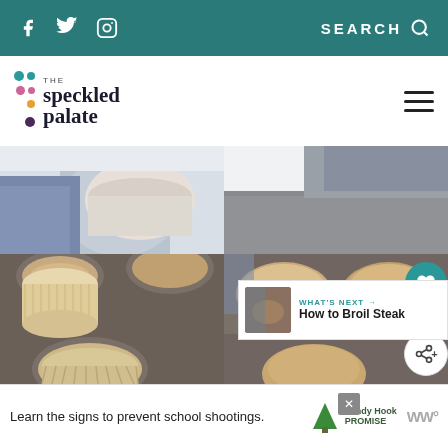The Speckled Palate — SEARCH
[Figure (photo): Top-left photo: person holding/pouring into a bowl with blue cloth, partial view]
[Figure (photo): Top-right photo: dark baking pan with cloth in background, partial view]
[Figure (photo): Bottom-left photo: muffin tin with paper liners, batter in cups, close-up]
[Figure (photo): Bottom-right photo: baked muffins in tin, golden brown tops]
WHAT'S NEXT → How to Broil Steak
Learn the signs to prevent school shootings. Sandy Hook Promise